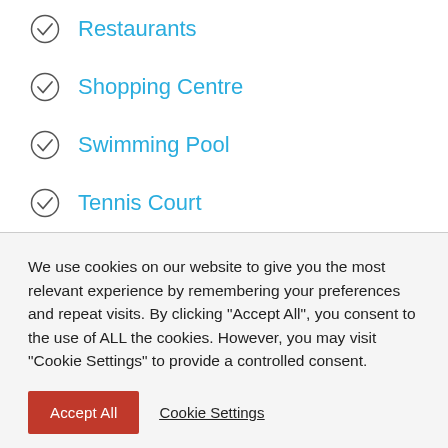Restaurants
Shopping Centre
Swimming Pool
Tennis Court
We use cookies on our website to give you the most relevant experience by remembering your preferences and repeat visits. By clicking "Accept All", you consent to the use of ALL the cookies. However, you may visit "Cookie Settings" to provide a controlled consent.
Accept All  Cookie Settings